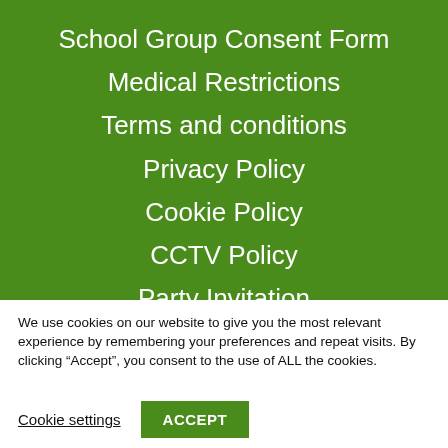School Group Consent Form
Medical Restrictions
Terms and conditions
Privacy Policy
Cookie Policy
CCTV Policy
Party Invitation
Questions & Answers
We use cookies on our website to give you the most relevant experience by remembering your preferences and repeat visits. By clicking “Accept”, you consent to the use of ALL the cookies.
Cookie settings
ACCEPT